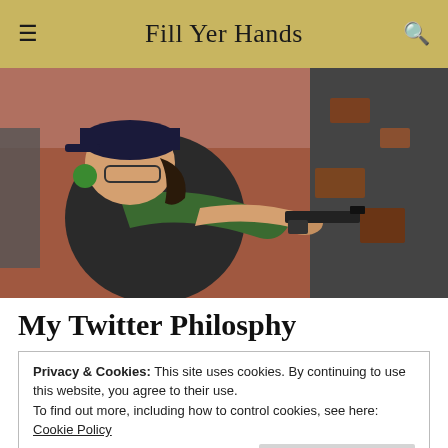Fill Yer Hands
[Figure (photo): A woman wearing a black baseball cap, glasses, and green ear protection aims a semi-automatic pistol around the corner of a rusted metal structure. The background shows red dirt and blurred terrain.]
My Twitter Philosphy
Privacy & Cookies: This site uses cookies. By continuing to use this website, you agree to their use.
To find out more, including how to control cookies, see here:
Cookie Policy
Close and accept
Twitter is a wonderful platform to share